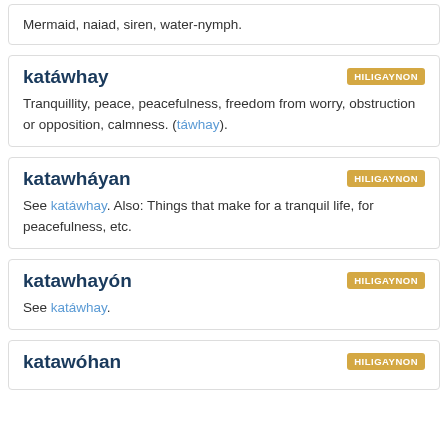Mermaid, naiad, siren, water-nymph.
katáwhay
HILIGAYNON
Tranquillity, peace, peacefulness, freedom from worry, obstruction or opposition, calmness. (táwhay).
katawháyan
HILIGAYNON
See katáwhay. Also: Things that make for a tranquil life, for peacefulness, etc.
katawhayón
HILIGAYNON
See katáwhay.
katawóhan
HILIGAYNON